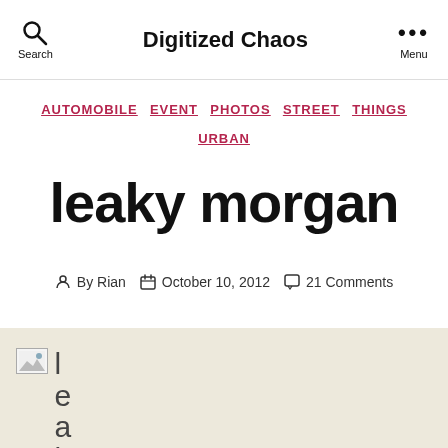Digitized Chaos
AUTOMOBILE  EVENT  PHOTOS  STREET  THINGS  URBAN
leaky morgan
By Rian   October 10, 2012   21 Comments
[Figure (photo): Broken image placeholder with vertical text spelling 'leak']